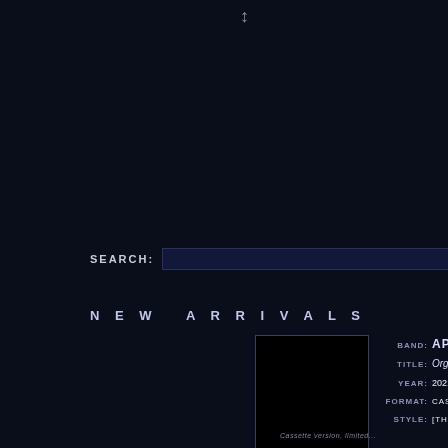↕
SEARCH:
NEW ARRIVALS
[Figure (photo): Black album cover image]
BAND: APHI
TITLE: Orga
YEAR: 2021
FORMAT: CASS
STYLE: [THRA
Cassette version, limited...